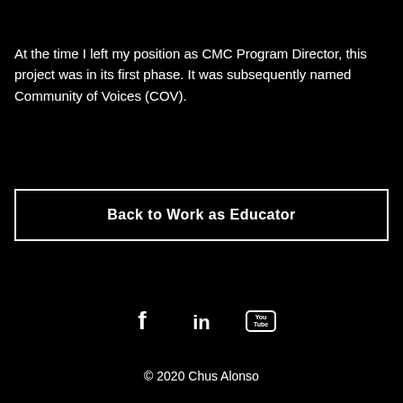At the time I left my position as CMC Program Director, this project was in its first phase. It was subsequently named Community of Voices (COV).
Back to Work as Educator
[Figure (illustration): Social media icons: Facebook (f), LinkedIn (in), YouTube (play button with 'You Tube' label)]
© 2020 Chus Alonso